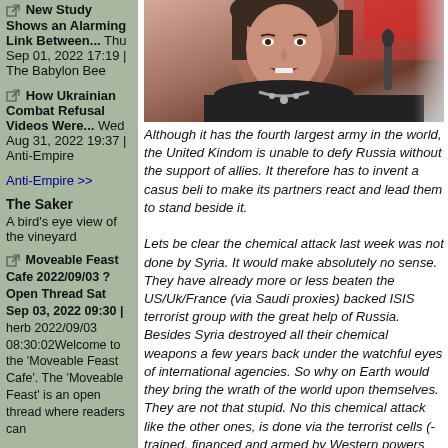New Study Shows an Alarming Link Between... Thu Sep 01, 2022 17:19 | The Babylon Bee
How Ukrainian Combat Refusal Videos Were... Wed Aug 31, 2022 19:37 | Anti-Empire
Anti-Empire >>
The Saker
A bird's eye view of the vineyard
Moveable Feast Cafe 2022/09/03 ? Open Thread Sat Sep 03, 2022 09:30 | herb 2022/09/03 08:30:02Welcome to the 'Moveable Feast Cafe'. The 'Moveable Feast' is an open thread where readers can
[Figure (photo): Close-up photo of a woman (Theresa May) speaking at a podium with microphones, wearing a dark jacket and necklace, with a blurred background.]
Although it has the fourth largest army in the world, the United Kindom is unable to defy Russia without the support of allies. It therefore has to invent a casus beli to make its partners react and lead them to stand beside it.

Lets be clear the chemical attack last week was not done by Syria. It would make absolutely no sense. They have already more or less beaten the US/Uk/France (via Saudi proxies) backed ISIS terrorist group with the great help of Russia. Besides Syria destroyed all their chemical weapons a few years back under the watchful eyes of international agencies. So why on Earth would they bring the wrath of the world upon themselves. They are not that stupid. No this chemical attack like the other ones, is done via the terrorist cells (-trained, financed and armed by Western powers through local proxies) - against the "moderate terrorists" and ultimately arranged by their sponsors which is as US, UK & France, the very same states crying crocodile tears about human rights when they regularly bomb countries and people for "human rights". Even now as they screech in unison about this